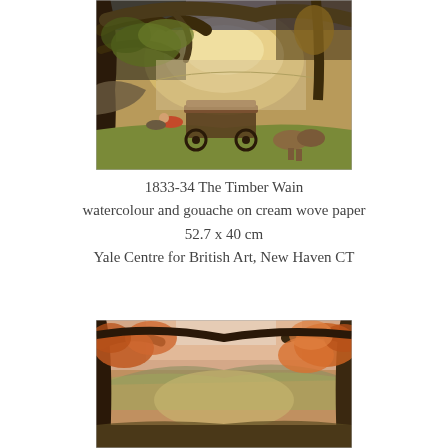[Figure (illustration): Painting: 1833-34 The Timber Wain – a wooded landscape with a large timber cart (wain) pulled by oxen under massive oak trees, figures resting nearby, warm autumn tones, glowing pastoral vista in distance.]
1833-34 The Timber Wain
watercolour and gouache on cream wove paper
52.7 x 40 cm
Yale Centre for British Art, New Haven CT
[Figure (illustration): Painting (partial view): Autumn woodland scene with large gnarled oak trees framing a glowing pastoral landscape, warm orange and brown foliage, late afternoon light.]